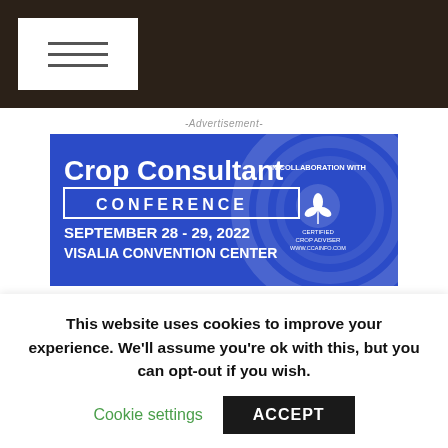≡ (hamburger menu button)
-Advertisement-
[Figure (illustration): Crop Consultant Conference banner advertisement. Blue background with circular design elements. Text reads: 'Crop Consultant' in large bold white, 'CONFERENCE' in white outlined box, 'SEPTEMBER 28 - 29, 2022', 'VISALIA CONVENTION CENTER', 'IN COLLABORATION WITH', Certified Crop Adviser logo on right side.]
multi-year effort to identify and isolate compounds to make up the leaffooted bug
This website uses cookies to improve your experience. We'll assume you're ok with this, but you can opt-out if you wish.
Cookie settings    ACCEPT